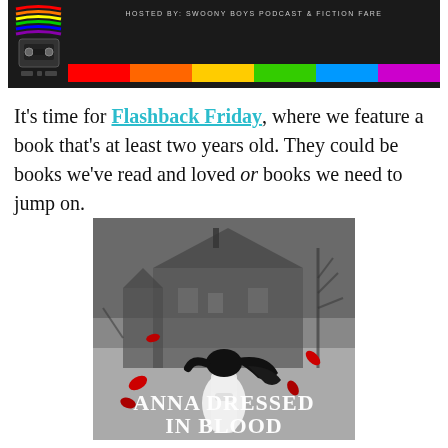[Figure (illustration): Flashback Friday banner with rainbow stripes, cassette tape graphic on dark background, text 'HOSTED BY: SWOONY BOYS PODCAST & FICTION FARE']
It's time for Flashback Friday, where we feature a book that's at least two years old. They could be books we've read and loved or books we need to jump on.
[Figure (photo): Book cover of 'Anna Dressed in Blood' showing a girl in a white dress with black flowing hair facing away toward a haunted house, with red petals/rose pieces floating around, in dark gothic style]